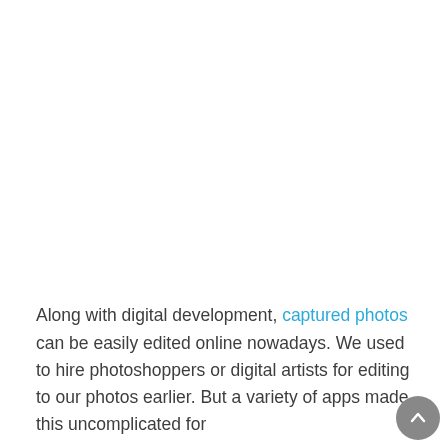Along with digital development, captured photos can be easily edited online nowadays. We used to hire photoshoppers or digital artists for editing to our photos earlier. But a variety of apps made this uncomplicated for